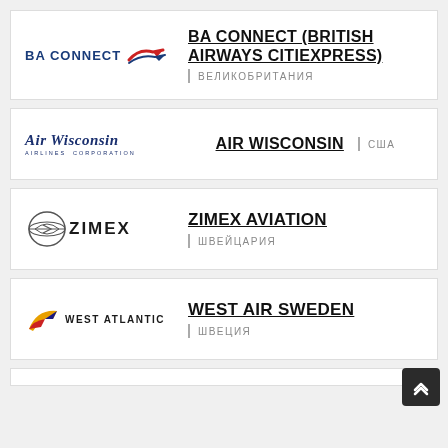[Figure (logo): BA Connect (British Airways CityExpress) airline logo with blue text and red/blue swoosh arrow]
BA CONNECT (BRITISH AIRWAYS CITIEXPRESS)
ВЕЛИКОБРИТАНИЯ
[Figure (logo): Air Wisconsin Airlines Corporation logo in italic dark blue serif font]
AIR WISCONSIN
США
[Figure (logo): Zimex Aviation logo with circular globe/aircraft symbol and bold ZIMEX text]
ZIMEX AVIATION
ШВЕЙЦАРИЯ
[Figure (logo): West Atlantic airline logo with swoosh wing and WEST ATLANTIC text]
WEST AIR SWEDEN
ШВЕЦИЯ